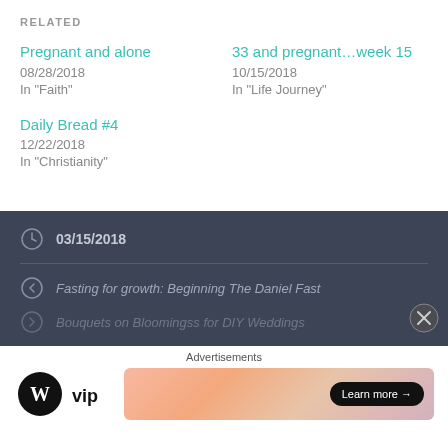RELATED
Pregnant and alone
08/28/2018
In "Faith"
33 and pregnant…week 15
10/15/2018
In "Life Journey"
Daily Bread #4
12/22/2018
In "Christianity"
03/15/2018
Fasting for growth: Beginning The Daniel Fast
Advertisements
[Figure (logo): WordPress VIP logo and advertisement banner with Learn more button]